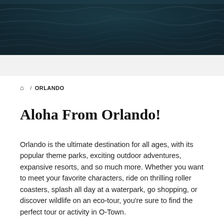[Figure (photo): Dark ocean water surface with waves, used as a hero banner image at the top of the page]
🏠 / ORLANDO
Aloha From Orlando!
Orlando is the ultimate destination for all ages, with its popular theme parks, exciting outdoor adventures, expansive resorts, and so much more. Whether you want to meet your favorite characters, ride on thrilling roller coasters, splash all day at a waterpark, go shopping, or discover wildlife on an eco-tour, you're sure to find the perfect tour or activity in O-Town.